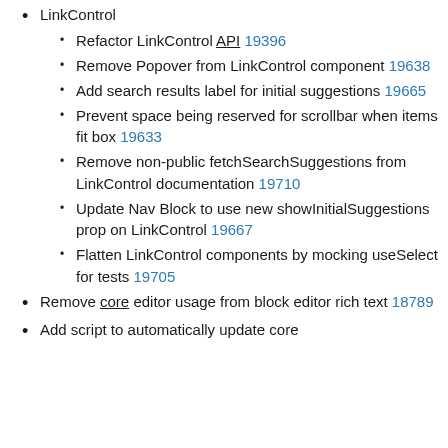LinkControl (partial, top cut off)
Refactor LinkControl API 19396
Remove Popover from LinkControl component 19638
Add search results label for initial suggestions 19665
Prevent space being reserved for scrollbar when items fit box 19633
Remove non-public fetchSearchSuggestions from LinkControl documentation 19710
Update Nav Block to use new showInitialSuggestions prop on LinkControl 19667
Flatten LinkControl components by mocking useSelect for tests 19705
Remove core editor usage from block editor rich text 18789
Add script to automatically update core